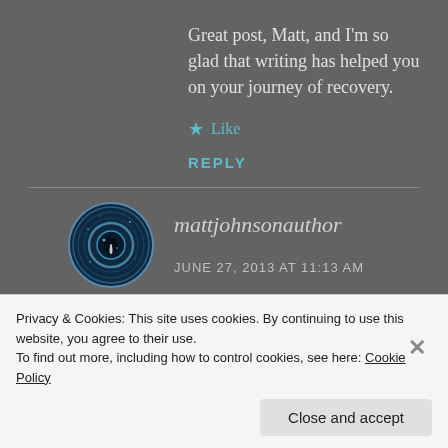Great post, Matt, and I'm so glad that writing has helped you on your journey of recovery.
★ Like
REPLY
[Figure (photo): Circular avatar image showing a dark eye or galaxy with a small human figure silhouette in the center, blue tones]
mattjohnsonauthor
JUNE 27, 2013 AT 11:13 AM
Privacy & Cookies: This site uses cookies. By continuing to use this website, you agree to their use.
To find out more, including how to control cookies, see here: Cookie Policy
Close and accept